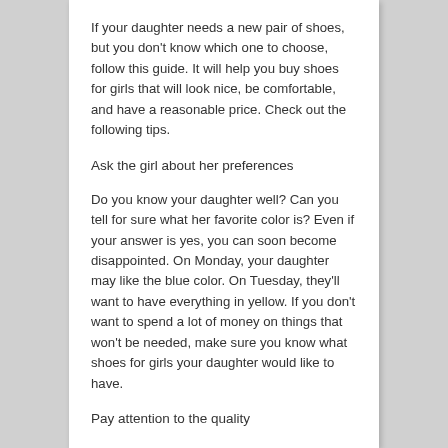If your daughter needs a new pair of shoes, but you don't know which one to choose, follow this guide. It will help you buy shoes for girls that will look nice, be comfortable, and have a reasonable price. Check out the following tips.
Ask the girl about her preferences
Do you know your daughter well? Can you tell for sure what her favorite color is? Even if your answer is yes, you can soon become disappointed. On Monday, your daughter may like the blue color. On Tuesday, they'll want to have everything in yellow. If you don't want to spend a lot of money on things that won't be needed, make sure you know what shoes for girls your daughter would like to have.
Pay attention to the quality
High-quality shoes for girls will definitely be comfortable. Besides, your daughther will wear them as long as she wants. After choosing the certain style, brand, and color, check the material